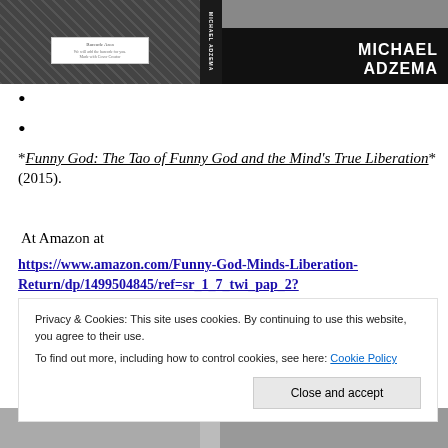[Figure (photo): Book cover image for Michael Adzema's book with decorative pattern on left, spine, and black right panel with author name 'MICHAEL ADZEMA' in white text. A barcode area placeholder is visible.]
*Funny God: The Tao of Funny God and the Mind's True Liberation* (2015).
At Amazon at
https://www.amazon.com/Funny-God-Minds-Liberation-Return/dp/1499504845/ref=sr_1_7_twi_pap_2?
Privacy & Cookies: This site uses cookies. By continuing to use this website, you agree to their use.
To find out more, including how to control cookies, see here: Cookie Policy
Close and accept